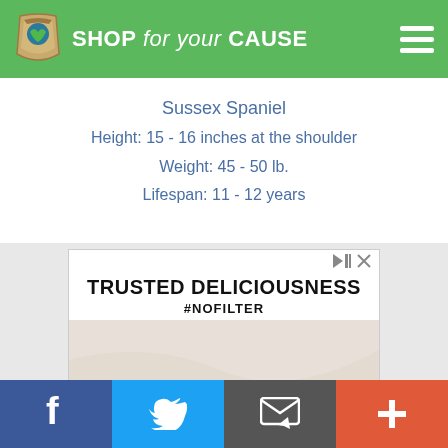SHOP for your CAUSE
Sussex Spaniel
Height: 15 - 16 inches at the shoulder
Weight: 45 - 50 lb.
Lifespan: 11 - 12 years
[Figure (photo): Advertisement showing pasta dish in a cast iron skillet with text TRUSTED DELICIOUSNESS #NOFILTER]
f  [twitter bird]  [email icon]  +